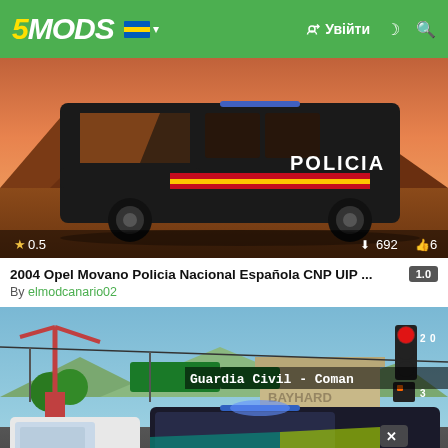5MODS | Увійти
[Figure (screenshot): GTA5 mod screenshot of a black Opel Movano police van with POLICIA markings and Spanish flag stripe, set in a desert sunset environment. Shows rating 0.5, 692 downloads, 6 likes overlay.]
2004 Opel Movano Policia Nacional Española CNP UIP ... 1.0
By elmodcanario02
[Figure (screenshot): GTA5 mod screenshot showing Guardia Civil police cars with 'Guardia Civil - Coman...' text overlay, traffic lights, cranes, and 'BAYHARD...' signage in background. An 'X' button visible. Police car with POLICIE livery in foreground.]